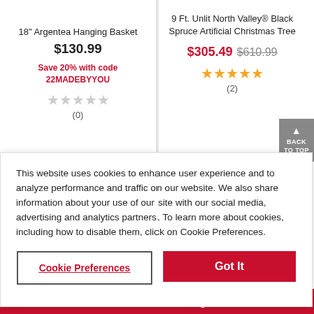18" Argentea Hanging Basket
$130.99
Save 20% with code 22MADEBYYOU
(0)
9 Ft. Unlit North Valley® Black Spruce Artificial Christmas Tree
$305.49 $610.99
(2)
BACK TO TOP
This website uses cookies to enhance user experience and to analyze performance and traffic on our website. We also share information about your use of our site with our social media, advertising and analytics partners. To learn more about cookies, including how to disable them, click on Cookie Preferences.
Cookie Preferences
Got It
MichaelsPro Logo